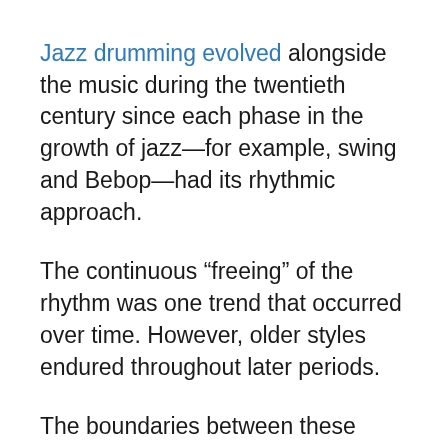Jazz drumming evolved alongside the music during the twentieth century since each phase in the growth of jazz—for example, swing and Bebop—had its rhythmic approach.
The continuous “freeing” of the rhythm was one trend that occurred over time. However, older styles endured throughout later periods.
The boundaries between these periods are hazy, partly because no single style superseded others; there are several cross-influences between styles. African music and jazz share several key characteristics, most notably the role of improvisation.